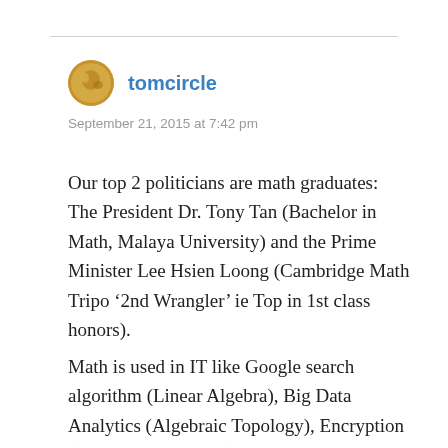[Figure (photo): Small circular avatar photo of user tomcircle, showing a golden/brown circular image]
tomcircle
September 21, 2015 at 7:42 pm
Our top 2 politicians are math graduates: The President Dr. Tony Tan (Bachelor in Math, Malaya University) and the Prime Minister Lee Hsien Loong (Cambridge Math Tripo ‘2nd Wrangler’ ie Top in 1st class honors).
Math is used in IT like Google search algorithm (Linear Algebra), Big Data Analytics (Algebraic Topology), Encryption (RSA Prime Number), Economy, Finance,